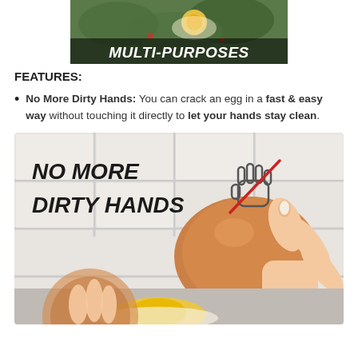[Figure (photo): Photo of food (eggs with greens) with text overlay 'MULTI-PURPOSES' in bold white italic font on dark background]
FEATURES:
No More Dirty Hands: You can crack an egg in a fast & easy way without touching it directly to let your hands stay clean.
[Figure (photo): Product feature image with bold black italic text 'NO MORE DIRTY HANDS' with a hand icon crossed out in red, and a photo of hands cracking an egg with an egg yolk visible]